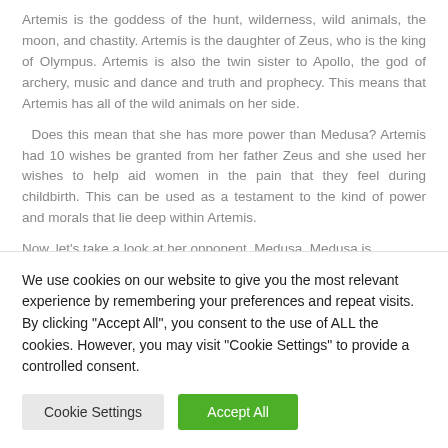Artemis is the goddess of the hunt, wilderness, wild animals, the moon, and chastity. Artemis is the daughter of Zeus, who is the king of Olympus. Artemis is also the twin sister to Apollo, the god of archery, music and dance and truth and prophecy. This means that Artemis has all of the wild animals on her side.
Does this mean that she has more power than Medusa? Artemis had 10 wishes be granted from her father Zeus and she used her wishes to help aid women in the pain that they feel during childbirth. This can be used as a testament to the kind of power and morals that lie deep within Artemis.
Now, let's take a look at her opponent, Medusa. Medusa is
We use cookies on our website to give you the most relevant experience by remembering your preferences and repeat visits. By clicking "Accept All", you consent to the use of ALL the cookies. However, you may visit "Cookie Settings" to provide a controlled consent.